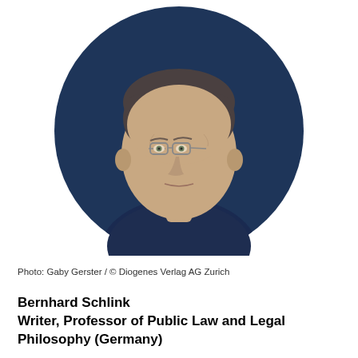[Figure (photo): Circular portrait photo of an elderly man with glasses, dark sweater, light blue collared shirt, against a dark navy blue background. Photo credit: Gaby Gerster / © Diogenes Verlag AG Zurich]
Photo: Gaby Gerster / © Diogenes Verlag AG Zurich
Bernhard Schlink
Writer, Professor of Public Law and Legal Philosophy (Germany)